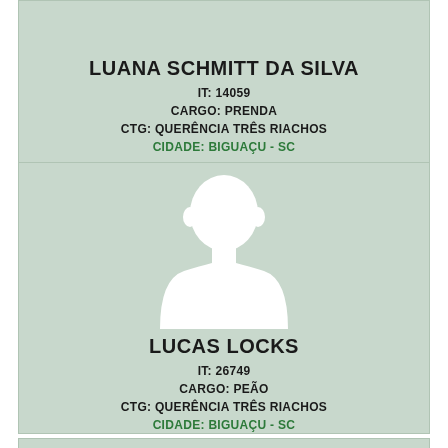LUANA SCHMITT DA SILVA
IT: 14059
CARGO: PRENDA
CTG: QUERÊNCIA TRÊS RIACHOS
CIDADE: BIGUAÇU - SC
[Figure (illustration): Generic person silhouette placeholder avatar]
LUCAS LOCKS
IT: 26749
CARGO: PEÃO
CTG: QUERÊNCIA TRÊS RIACHOS
CIDADE: BIGUAÇU - SC